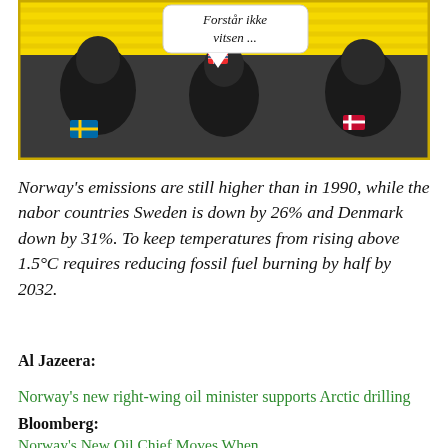[Figure (illustration): Comic strip showing three men in a car, one with a Norwegian flag pin, one with a Swedish flag pin, one with a Danish flag pin. Speech bubble reads 'Forstår ikke vitsen ...' Yellow background with horizontal lines.]
Norway's emissions are still higher than in 1990, while the nabor countries Sweden is down by 26% and Denmark down by 31%. To keep temperatures from rising above 1.5°C requires reducing fossil fuel burning by half by 2032.
Al Jazeera:
Norway's new right-wing oil minister supports Arctic drilling
Bloomberg:
Norway's New Oil Chief Moves When...